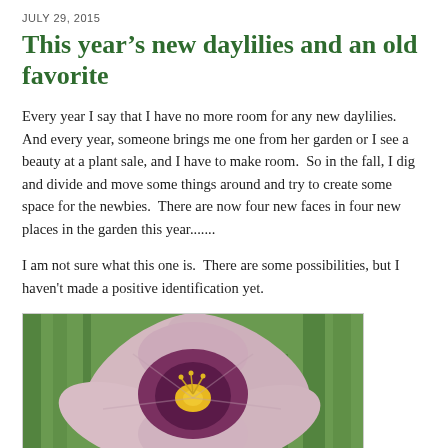JULY 29, 2015
This year’s new daylilies and an old favorite
Every year I say that I have no more room for any new daylilies.  And every year, someone brings me one from her garden or I see a beauty at a plant sale, and I have to make room.  So in the fall, I dig and divide and move some things around and try to create some space for the newbies.  There are now four new faces in four new places in the garden this year.......
I am not sure what this one is.  There are some possibilities, but I haven't made a positive identification yet.
[Figure (photo): Close-up photograph of a daylily flower with light pink/mauve petals and a deep purple/magenta center throat, with yellow stamens, surrounded by green foliage in the background.]